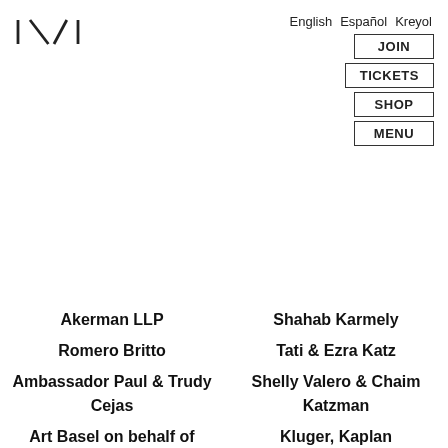[Figure (logo): IXI logo — two diagonal lines between vertical bars]
English  Español  Kreyol
JOIN
TICKETS
SHOP
MENU
Akerman LLP
Romero Britto
Ambassador Paul & Trudy Cejas
Art Basel on behalf of
Shahab Karmely
Tati & Ezra Katz
Shelly Valero & Chaim Katzman
Kluger, Kaplan